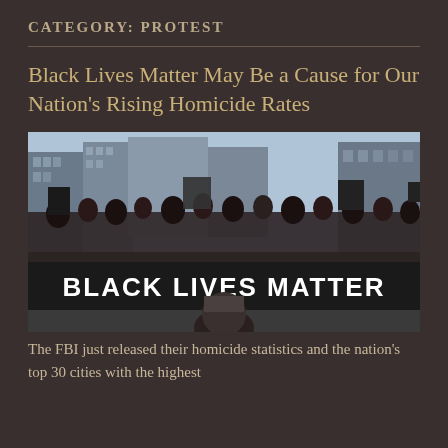CATEGORY: PROTEST
Black Lives Matter May Be a Cause for Our Nation’s Rising Homicide Rates
[Figure (photo): A large protest march with people holding a banner reading BLACK LIVES MATTER, marching through an urban street with skyscrapers in the background.]
The FBI just released their homicide statistics and the nation’s top 30 cities with the highest